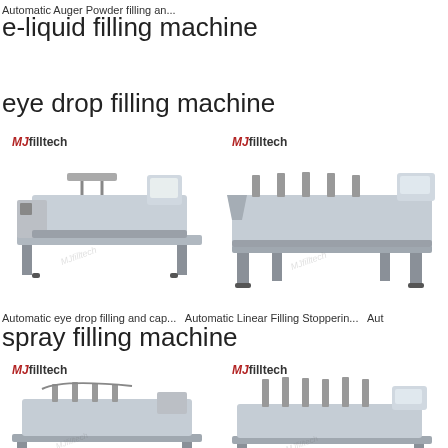Automatic Auger Powder filling an...
e-liquid filling machine
eye drop filling machine
[Figure (photo): MJfilltech branded automatic eye drop filling and capping machine on stainless steel table]
[Figure (photo): MJfilltech branded automatic linear filling stoppering machine]
Automatic eye drop filling and cap...   Automatic Linear Filling Stopperin...   Aut
spray filling machine
[Figure (photo): MJfilltech branded spray filling machine on platform]
[Figure (photo): MJfilltech branded spray filling machine with multiple heads]